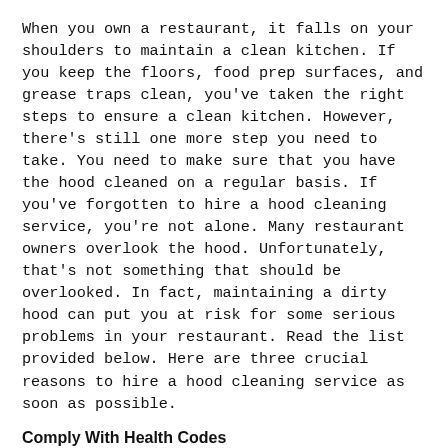When you own a restaurant, it falls on your shoulders to maintain a clean kitchen. If you keep the floors, food prep surfaces, and grease traps clean, you've taken the right steps to ensure a clean kitchen. However, there's still one more step you need to take. You need to make sure that you have the hood cleaned on a regular basis. If you've forgotten to hire a hood cleaning service, you're not alone. Many restaurant owners overlook the hood. Unfortunately, that's not something that should be overlooked. In fact, maintaining a dirty hood can put you at risk for some serious problems in your restaurant. Read the list provided below. Here are three crucial reasons to hire a hood cleaning service as soon as possible.
Comply With Health Codes
When it comes to owning a restaurant, you need to be concerned about health codes. In most cities, health code inspectors come through on a regular basis to inspect restaurants. If the inspector identifies